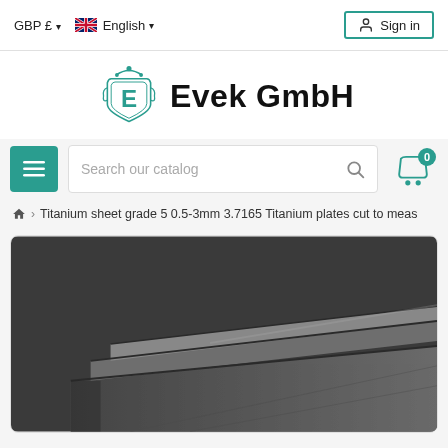GBP £ ▾  English ▾  Sign in
[Figure (logo): Evek GmbH logo with teal ornamental crest and bold black text]
Search our catalog (search bar with hamburger menu and cart icon showing 0 items)
🏠 > Titanium sheet grade 5 0.5-3mm 3.7165 Titanium plates cut to meas
[Figure (photo): Close-up photo of metallic titanium sheets stacked at angles, black and white/grey tones]